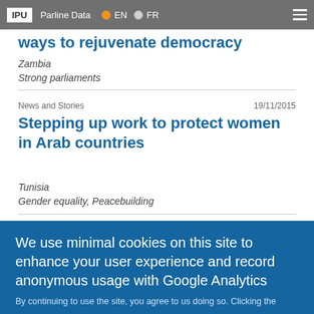IPU | Parline Data | EN | FR
ways to rejuvenate democracy
Zambia
Strong parliaments
News and Stories | 19/11/2015
Stepping up work to protect women in Arab countries
Tunisia
Gender equality, Peacebuilding
Pagination: 1 2 3 4 >> Last »
We use minimal cookies on this site to enhance your user experience and record anonymous usage with Google Analytics
By continuing to use the site, you agree to us doing so. Clicking the